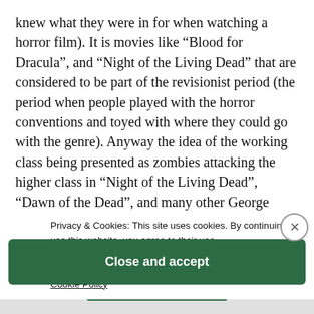knew what they were in for when watching a horror film). It is movies like “Blood for Dracula”, and “Night of the Living Dead” that are considered to be part of the revisionist period (the period when people played with the horror conventions and toyed with where they could go with the genre). Anyway the idea of the working class being presented as zombies attacking the higher class in “Night of the Living Dead”, “Dawn of the Dead”, and many other George Romero films are
perfect examples of Wood’s theory. Wood’s argument of basically “revenge of the repressed” was proven to be very much true. The idea of “the other” was argued ov…d believed that how the issue in the plot of the horror film was resolved established the movie’s
Privacy & Cookies: This site uses cookies. By continuing to use this website, you agree to their use.
To find out more, including how to control cookies, see here:
Cookie Policy
Close and accept